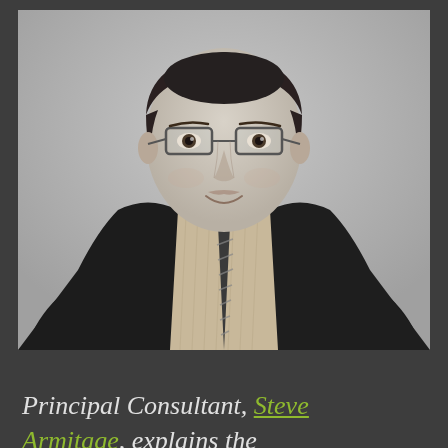[Figure (photo): Black and white headshot of a man in a dark suit, patterned dress shirt, and striped tie, wearing rectangular glasses, smiling slightly at the camera. Light gray background.]
Principal Consultant, Steve Armitage, explains the